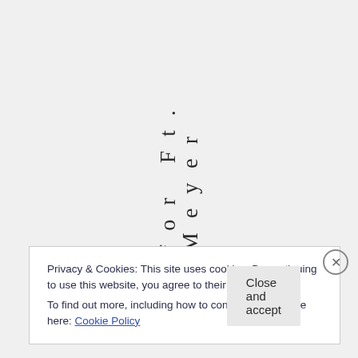for Ft. Meyer
Privacy & Cookies: This site uses cookies. By continuing to use this website, you agree to their use.
To find out more, including how to control cookies, see here: Cookie Policy
Close and accept